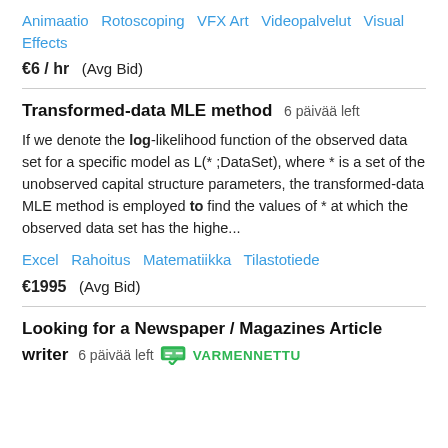Animaatio  Rotoscoping  VFX Art  Videopalvelut  Visual Effects
€6 / hr  (Avg Bid)
Transformed-data MLE method  6 päivää left
If we denote the log-likelihood function of the observed data set for a specific model as L(* ;DataSet), where * is a set of the unobserved capital structure parameters, the transformed-data MLE method is employed to find the values of * at which the observed data set has the highe...
Excel  Rahoitus  Matematiikka  Tilastotiede
€1995  (Avg Bid)
Looking for a Newspaper / Magazines Article writer  6 päivää left  VARMENNETTU